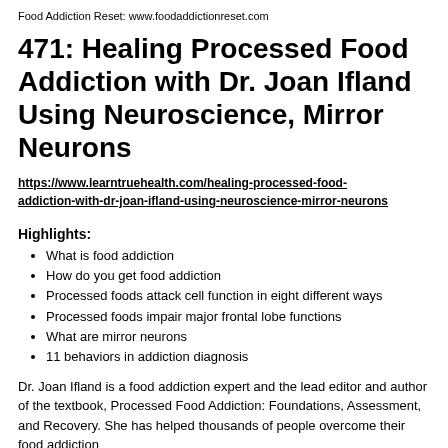Food Addiction Reset: www.foodaddictionreset.com
471: Healing Processed Food Addiction with Dr. Joan Ifland Using Neuroscience, Mirror Neurons
https://www.learntruehealth.com/healing-processed-food-addiction-with-dr-joan-ifland-using-neuroscience-mirror-neurons
Highlights:
What is food addiction
How do you get food addiction
Processed foods attack cell function in eight different ways
Processed foods impair major frontal lobe functions
What are mirror neurons
11 behaviors in addiction diagnosis
Dr. Joan Ifland is a food addiction expert and the lead editor and author of the textbook, Processed Food Addiction: Foundations, Assessment, and Recovery. She has helped thousands of people overcome their food addiction